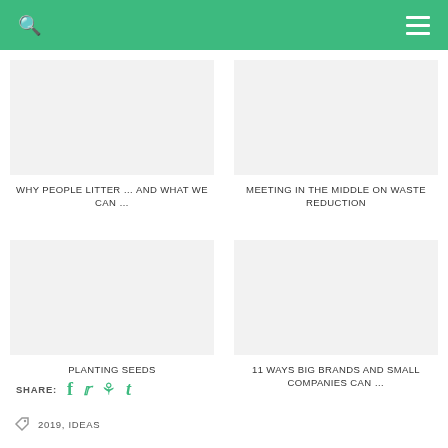WHY PEOPLE LITTER … AND WHAT WE CAN …
MEETING IN THE MIDDLE ON WASTE REDUCTION
PLANTING SEEDS
11 WAYS BIG BRANDS AND SMALL COMPANIES CAN …
SHARE: [social icons]
2019, IDEAS